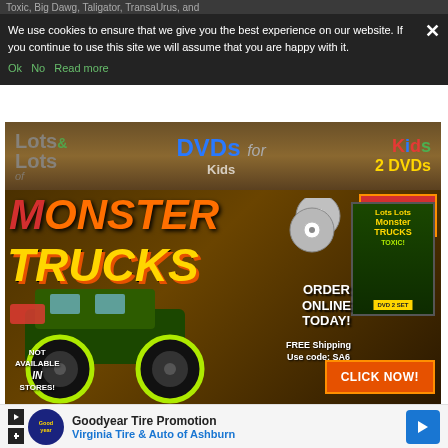Toxic, Big Dawg, Taligator, TransaUrus, and
We use cookies to ensure that we give you the best experience on our website. If you continue to use this site we will assume that you are happy with it.
Ok   No   Read more
[Figure (photo): Lots & Lots of DVDs for Kids - 2 DVDs Monster Trucks advertisement showing a green monster truck called TOXIC with text: Plus Free POSTER, ORDER ONLINE TODAY!, FREE Shipping Use code: SA6, NOT AVAILABLE IN STORES!, CLICK NOW!]
[Figure (logo): SHE Media Partner Network - Become a Member banner in teal/cyan color]
[Figure (photo): Goodyear Tire Promotion - Virginia Tire & Auto of Ashburn advertisement at the bottom]